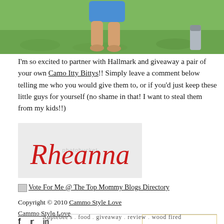[Figure (photo): Cropped photo showing a child's legs standing on green grass, wearing blue shorts, viewed from above.]
I'm so excited to partner with Hallmark and giveaway a pair of your own Camo Itty Bittys!! Simply leave a comment below telling me who you would give them to, or if you'd just keep these little guys for yourself (no shame in that! I want to steal them from my kids!!)
[Figure (illustration): Signature image of 'Rheanna' in red cursive script on a light grey background, with photobucket watermark overlay.]
Vote For Me @ The Top Mommy Blogs Directory
Copyright © 2010 Cammo Style Love
Cammo Style Love
Continue Reading
Applebee's . food . giveaway . review . wood fired